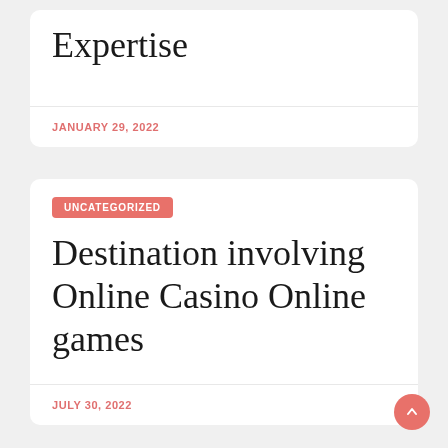Expertise
JANUARY 29, 2022
UNCATEGORIZED
Destination involving Online Casino Online games
JULY 30, 2022